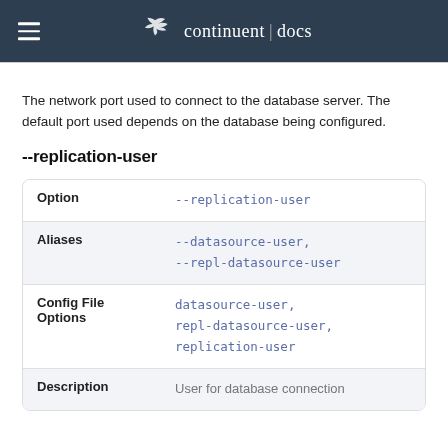continuent | docs
The network port used to connect to the database server. The default port used depends on the database being configured.
--replication-user
| Option | Value |
| --- | --- |
| Option | --replication-user |
| Aliases | --datasource-user, --repl-datasource-user |
| Config File Options | datasource-user, repl-datasource-user, replication-user |
| Description | User for database connection |